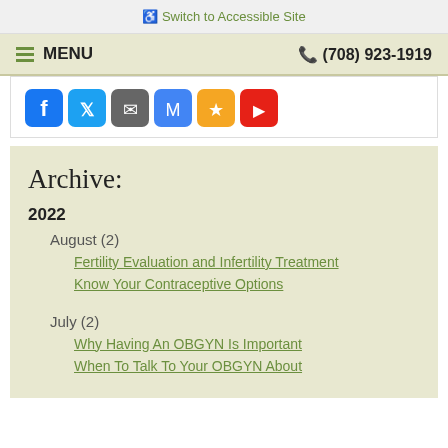Switch to Accessible Site
MENU  (708) 923-1919
[Figure (screenshot): Row of social media share buttons: Facebook (blue), Twitter (blue), Email (gray), Gmail (blue), Star/bookmark (orange), YouTube (red)]
Archive:
2022
August (2)
Fertility Evaluation and Infertility Treatment
Know Your Contraceptive Options
July (2)
Why Having An OBGYN Is Important
When To Talk To Your OBGYN About